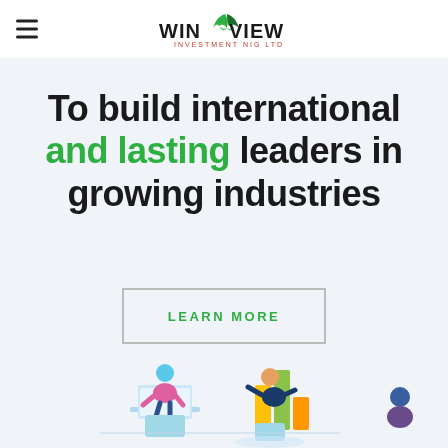WinView Investment Nig Ltd
To build international and lasting leaders in growing industries
LEARN MORE
[Figure (illustration): Illustrated scene showing people working with laptops, bar charts, and data — a team analysis and growth concept illustration in isometric style]